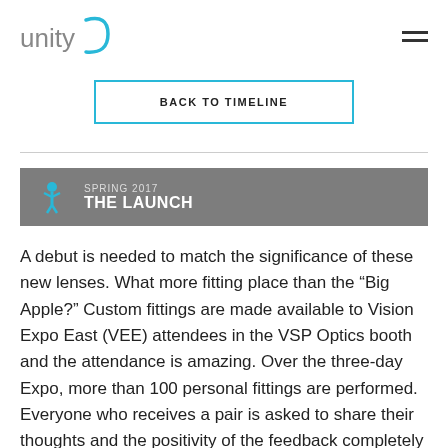unity [logo]
BACK TO TIMELINE
SPRING 2017 THE LAUNCH
A debut is needed to match the significance of these new lenses. What more fitting place than the “Big Apple?” Custom fittings are made available to Vision Expo East (VEE) attendees in the VSP Optics booth and the attendance is amazing. Over the three-day Expo, more than 100 personal fittings are performed. Everyone who receives a pair is asked to share their thoughts and the positivity of the feedback completely